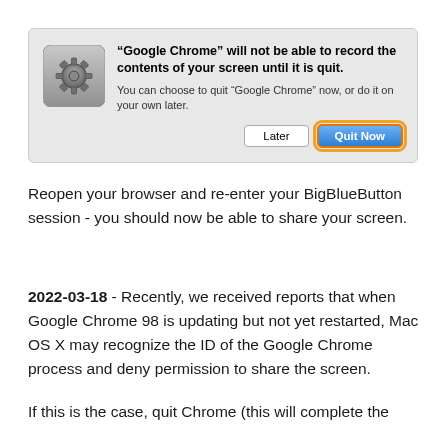[Figure (screenshot): macOS system dialog: “Google Chrome” will not be able to record the contents of your screen until it is quit. You can choose to quit “Google Chrome” now, or do it on your own later. Buttons: Later, Quit Now (Quit Now highlighted with orange border).]
Reopen your browser and re-enter your BigBlueButton session - you should now be able to share your screen.
2022-03-18 - Recently, we received reports that when Google Chrome 98 is updating but not yet restarted, Mac OS X may recognize the ID of the Google Chrome process and deny permission to share the screen.
If this is the case, quit Chrome (this will complete the